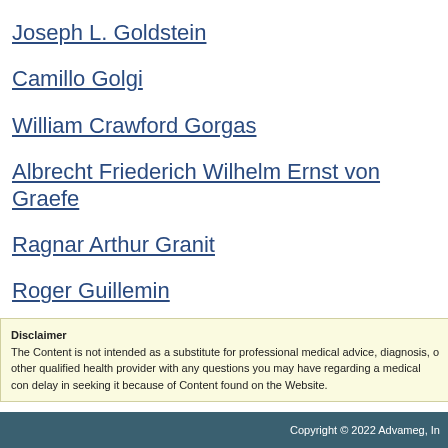Joseph L. Goldstein
Camillo Golgi
William Crawford Gorgas
Albrecht Friederich Wilhelm Ernst von Graefe
Ragnar Arthur Granit
Roger Guillemin
Allvar Gullstrand
Disclaimer
The Content is not intended as a substitute for professional medical advice, diagnosis, or other qualified health provider with any questions you may have regarding a medical condition. delay in seeking it because of Content found on the Website.
Copyright © 2022 Advameg, In